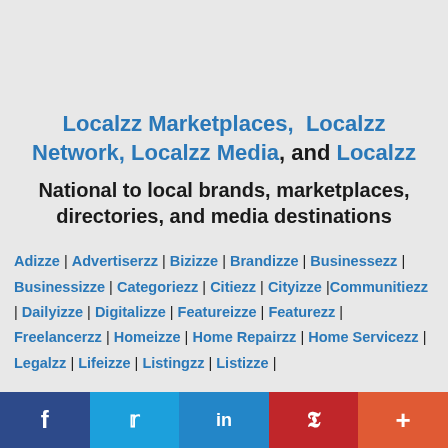Localzz Marketplaces, Localzz Network, Localzz Media, and Localzz
National to local brands, marketplaces, directories, and media destinations
Adizze | Advertiserzz | Bizizze | Brandizze | Businessezz | Businessizze | Categoriezz | Citiezz | Cityizze |Communitiezz | Dailyizze | Digitalizze | Featureizze | Featurezz | Freelancerzz | Homeizze | Home Repairzz | Home Servicezz | Legalzz | Lifeizze | Listingzz | Listizze |
Social share bar: Facebook, Twitter, LinkedIn, Pinterest, More